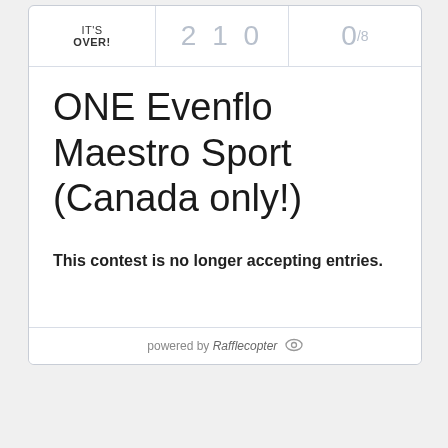IT'S OVER!
2 1 0
0/8
ONE Evenflo Maestro Sport (Canada only!)
This contest is no longer accepting entries.
powered by Rafflecopter